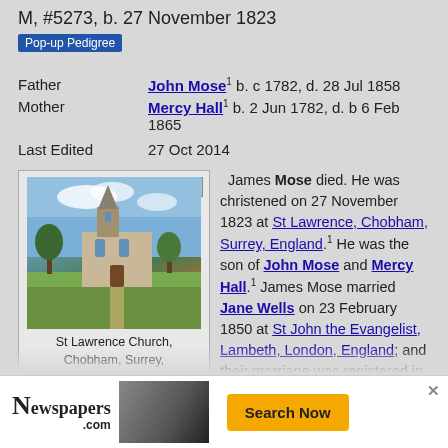M, #5273, b. 27 November 1823
Pop-up Pedigree
| Field | Value |
| --- | --- |
| Father | John Mose¹ b. c 1782, d. 28 Jul 1858 |
| Mother | Mercy Hall¹ b. 2 Jun 1782, d. b 6 Feb 1865 |
| Last Edited | 27 Oct 2014 |
[Figure (photo): Photo of St Lawrence Church, Chobham, Surrey, England]
St Lawrence Church, Chobham, Surrey, England
James Mose died. He was christened on 27 November 1823 at St Lawrence, Chobham, Surrey, England.¹ He was the son of John Mose and Mercy Hall.¹ James Mose married Jane Wells on 23 February 1850 at St John the Evangelist, Lambeth, London, England; and their marriage was registered in the March quarter 1850 in the Lambeth registration district.²·³·⁴ James Mose appeared on the census of 30 March 1851 at Chobham, Surrey, England, as age 26, birthplace... census of 7 Apr..., age